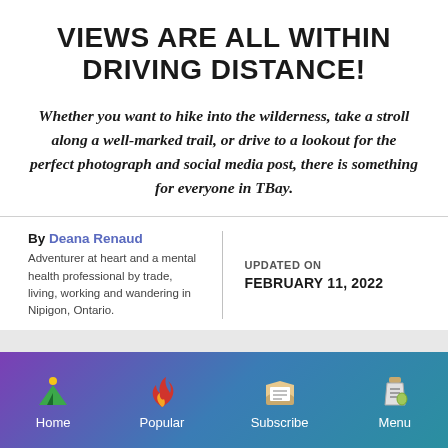VIEWS ARE ALL WITHIN DRIVING DISTANCE!
Whether you want to hike into the wilderness, take a stroll along a well-marked trail, or drive to a lookout for the perfect photograph and social media post, there is something for everyone in TBay.
By Deana Renaud
Adventurer at heart and a mental health professional by trade, living, working and wandering in Nipigon, Ontario.

UPDATED ON
FEBRUARY 11, 2022
Home | Popular | Subscribe | Menu